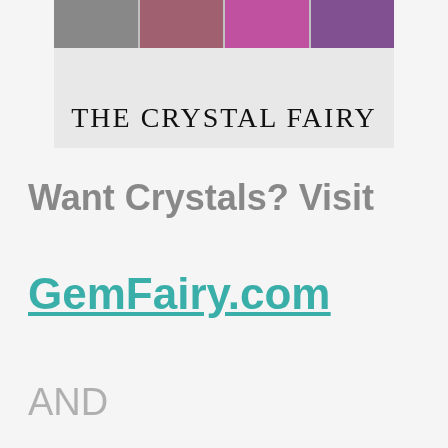[Figure (photo): A banner image showing 'THE CRYSTAL FAIRY' with photos of people and flowers/crystals above the text, on a light background.]
Want Crystals? Visit
GemFairy.com
AND